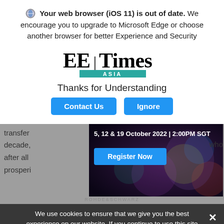Your web browser (iOS 11) is out of date. We encourage you to upgrade to Microsoft Edge or choose another browser for better Experience and Security
[Figure (logo): EE Times Asia logo with teal ASIA bar]
Thanks for Understanding
Contact Us | Ignore
transfer ... decade, ... who after all ... prosperi...
[Figure (screenshot): Webinar card: 5, 12 & 19 October 2022 | 2:00PM SGT with Register Now button and dark background image]
who
ROHDE&SCHWARZ
We use cookies to ensure that we give you the best experience on our website. If you continue to use this site we will assume that you are happy with it.
Ok
The second obstacle to ... skills. Here, the problem is not just shop-flo... duction skills, but also